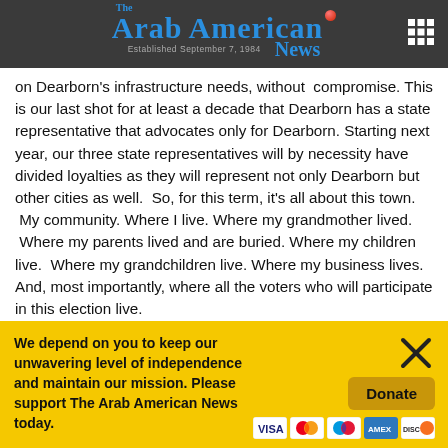The Arab American News — Established September 7, 1984
on Dearborn's infrastructure needs, without compromise. This is our last shot for at least a decade that Dearborn has a state representative that advocates only for Dearborn. Starting next year, our three state representatives will by necessity have divided loyalties as they will represent not only Dearborn but other cities as well. So, for this term, it's all about this town. My community. Where I live. Where my grandmother lived. Where my parents lived and are buried. Where my children live. Where my grandchildren live. Where my business lives. And, most importantly, where all the voters who will participate in this election live.
We depend on you to keep our unwavering level of independence and maintain our mission. Please support The Arab American News today.